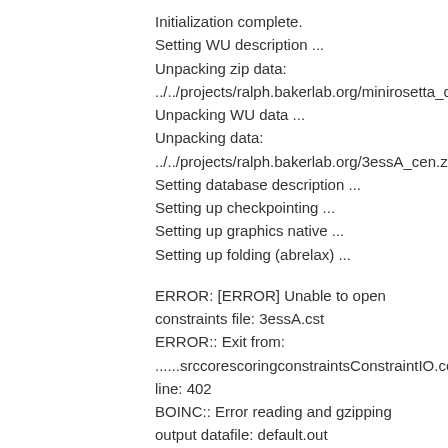Initialization complete.
Setting WU description ...
Unpacking zip data:
../../projects/ralph.bakerlab.org/minirosetta_da
Unpacking WU data ...
Unpacking data:
../../projects/ralph.bakerlab.org/3essA_cen.zip
Setting database description ...
Setting up checkpointing ...
Setting up graphics native ...
Setting up folding (abrelax) ...

ERROR: [ERROR] Unable to open constraints file: 3essA.cst
ERROR:: Exit from:
......srccorescoringconstraintsConstraintIO.cc
line: 402
BOINC:: Error reading and gzipping output datafile: default.out
called boinc_finish

</stderr_txt>
]]>
Validate state Invalid